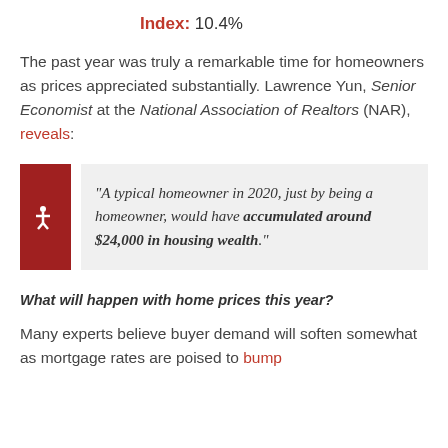Index: 10.4%
The past year was truly a remarkable time for homeowners as prices appreciated substantially. Lawrence Yun, Senior Economist at the National Association of Realtors (NAR), reveals:
"A typical homeowner in 2020, just by being a homeowner, would have accumulated around $24,000 in housing wealth."
What will happen with home prices this year?
Many experts believe buyer demand will soften somewhat as mortgage rates are poised to bump